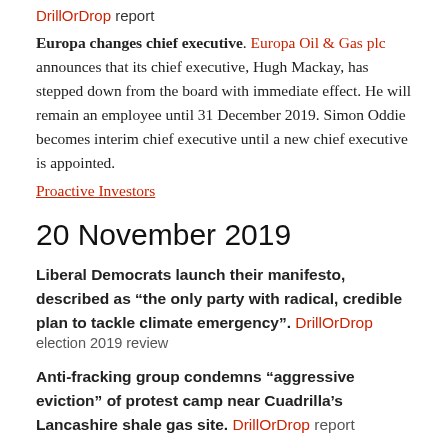DrillOrDrop report
Europa changes chief executive. Europa Oil & Gas plc announces that its chief executive, Hugh Mackay, has stepped down from the board with immediate effect. He will remain an employee until 31 December 2019. Simon Oddie becomes interim chief executive until a new chief executive is appointed. Proactive Investors
20 November 2019
Liberal Democrats launch their manifesto, described as “the only party with radical, credible plan to tackle climate emergency”. DrillOrDrop election 2019 review
Anti-fracking group condemns “aggressive eviction” of protest camp near Cuadrilla’s Lancashire shale gas site. DrillOrDrop report